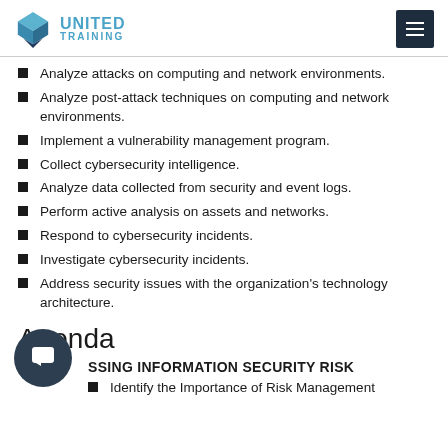UNITED TRAINING
Analyze attacks on computing and network environments.
Analyze post-attack techniques on computing and network environments.
Implement a vulnerability management program.
Collect cybersecurity intelligence.
Analyze data collected from security and event logs.
Perform active analysis on assets and networks.
Respond to cybersecurity incidents.
Investigate cybersecurity incidents.
Address security issues with the organization's technology architecture.
Agenda
SSING INFORMATION SECURITY RISK
Identify the Importance of Risk Management